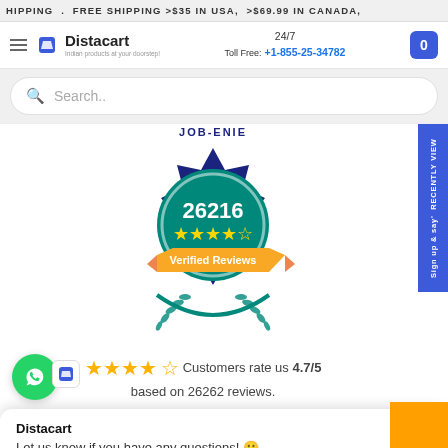HIPPING . FREE SHIPPING >$35 IN USA, >$69.99 IN CANADA,
[Figure (logo): Distacart logo with shopping bag icon and tagline 'Indian products at your doorstep!']
24/7 Toll Free: +1-855-25-34782
Search..
[Figure (illustration): Distacart verified reviews badge showing 26216 reviews with 4-5 star rating badge, teal and dark blue circular badge with laurel wreath and orange/gold 'Verified Reviews' ribbon banner]
Customers rate us 4.7/5 based on 26262 reviews.
Sign up & say' RECENTLY VIEW
Distacart
Let us know if you have any questions! 😊